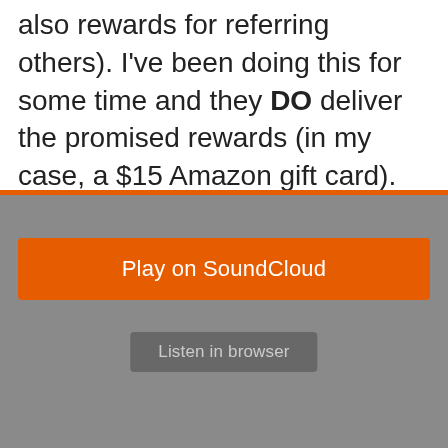also rewards for referring others). I've been doing this for some time and they DO deliver the promised rewards (in my case, a $15 Amazon gift card).
[Figure (screenshot): SoundCloud embedded player showing an error state: 'Oops, we couldn't find that track.' with SoundCloud logo, an orange 'Play on SoundCloud' button, and a grey 'Listen in browser' button on a grey background.]